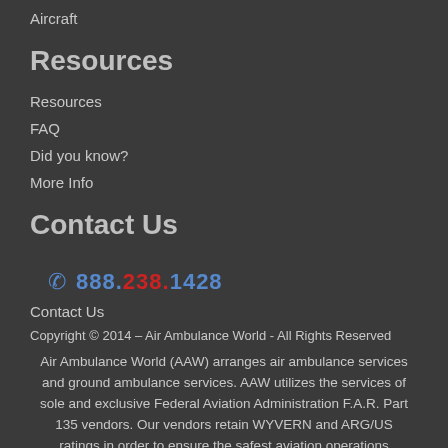Aircraft
Resources
Resources
FAQ
Did you know?
More Info
Contact Us
888.238.1428
Contact Us
Copyright © 2014 – Air Ambulance World - All Rights Reserved
Air Ambulance World (AAW) arranges air ambulance services and ground ambulance services. AAW utilizes the services of sole and exclusive Federal Aviation Administration F.A.R. Part 135 vendors. Our vendors retain WYVERN and ARG/US ratings in order to ensure the safest aviation operations possible.